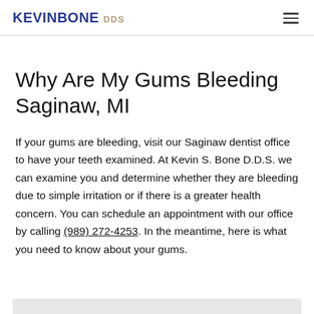KEVIN BONE DDS
Why Are My Gums Bleeding Saginaw, MI
If your gums are bleeding, visit our Saginaw dentist office to have your teeth examined. At Kevin S. Bone D.D.S. we can examine you and determine whether they are bleeding due to simple irritation or if there is a greater health concern. You can schedule an appointment with our office by calling (989) 272-4253. In the meantime, here is what you need to know about your gums.